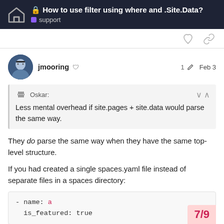How to use filter using where and .Site.Data? support
jmooring  1  Feb 3
Oskar:
Less mental overhead if site.pages + site.data would parse the same way.
They do parse the same way when they have the same top-level structure.
If you had created a single spaces.yaml file instead of separate files in a spaces directory:
- name: a
  is_featured: true
7/9